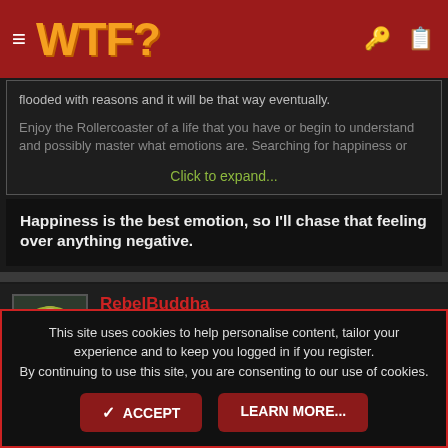WTF?
flooded with reasons and it will be that way eventually.
Enjoy the Rollercoaster of a life that you have or begin to understand and possibly master what emotions are. Searching for happiness or
Click to expand...
Happiness is the best emotion, so I'll chase that feeling over anything negative.
RebelBuddha
Kre8orOfChaos
This site uses cookies to help personalise content, tailor your experience and to keep you logged in if you register.
By continuing to use this site, you are consenting to our use of cookies.
✓ ACCEPT    LEARN MORE...